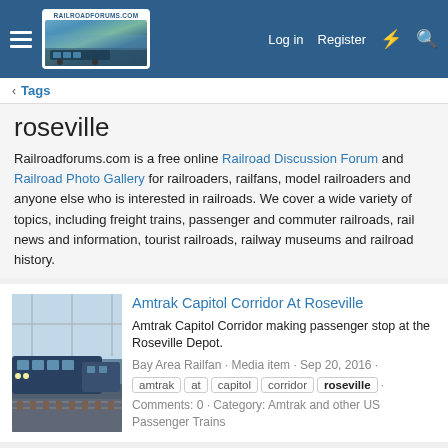RailroadForums.com — Log in  Register
< Tags
roseville
Railroadforums.com is a free online Railroad Discussion Forum and Railroad Photo Gallery for railroaders, railfans, model railroaders and anyone else who is interested in railroads. We cover a wide variety of topics, including freight trains, passenger and commuter railroads, rail news and information, tourist railroads, railway museums and railroad history.
[Figure (photo): Photo of an Amtrak train at Roseville Depot]
Amtrak Capitol Corridor At Roseville
Amtrak Capitol Corridor making passenger stop at the Roseville Depot.
Bay Area Railfan · Media item · Sep 20, 2016 ·
amtrak  at  capitol  corridor  roseville ·
Comments: 0 · Category: Amtrak and other US Passenger Trains